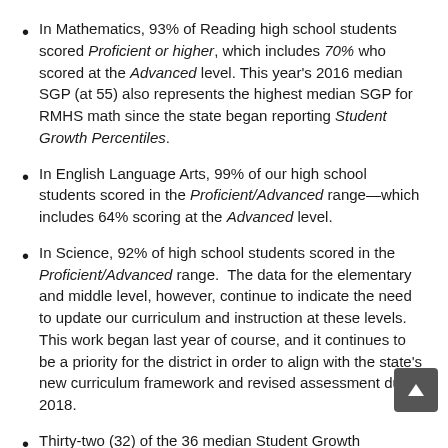In Mathematics, 93% of Reading high school students scored Proficient or higher, which includes 70% who scored at the Advanced level. This year's 2016 median SGP (at 55) also represents the highest median SGP for RMHS math since the state began reporting Student Growth Percentiles.
In English Language Arts, 99% of our high school students scored in the Proficient/Advanced range—which includes 64% scoring at the Advanced level.
In Science, 92% of high school students scored in the Proficient/Advanced range.  The data for the elementary and middle level, however, continue to indicate the need to update our curriculum and instruction at these levels.  This work began last year of course, and it continues to be a priority for the district in order to align with the state's new curriculum framework and revised assessment due in 2018.
Thirty-two (32) of the 36 median Student Growth Percentiles (SGP) in ELA and Mathematics (across all three levels) are in the moderate or high growth